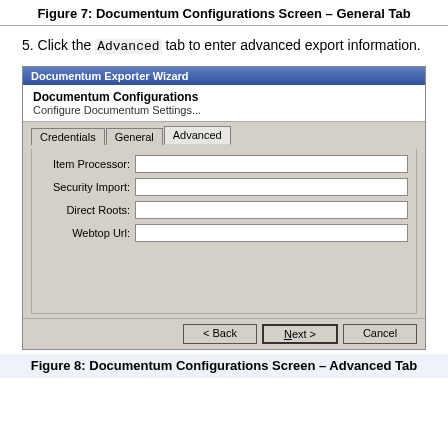Figure 7: Documentum Configurations Screen – General Tab
5. Click the Advanced tab to enter advanced export information.
[Figure (screenshot): Documentum Exporter Wizard dialog showing the Documentum Configurations screen with the Advanced tab selected. The Advanced tab contains four input fields: Item Processor, Security Import, Direct Roots, and Webtop Url. Navigation buttons Back, Next, and Cancel appear at the bottom.]
Figure 8: Documentum Configurations Screen – Advanced Tab